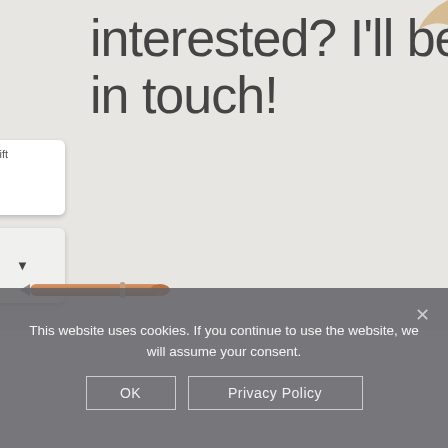[Figure (photo): Flat lay photo showing a white keyboard with 'shift' key and arrow key visible on the left, a rose gold pen at the bottom left, and glasses partially visible at top right. A large white notepad/paper occupies the center and right, with thin-font text reading 'interested? I'll be in touch!' overlaid on it.]
interested? I'll be in touch!
This website uses cookies. If you continue to use the website, we will assume your consent.